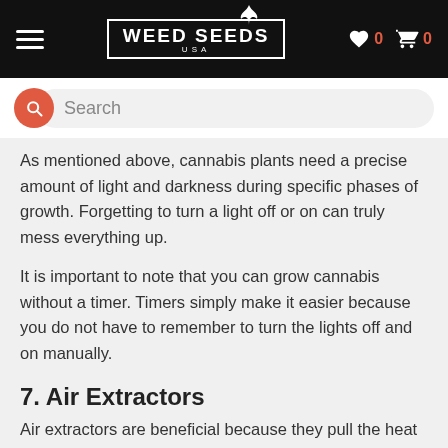WEED SEEDS USA
As mentioned above, cannabis plants need a precise amount of light and darkness during specific phases of growth. Forgetting to turn a light off or on can truly mess everything up.
It is important to note that you can grow cannabis without a timer. Timers simply make it easier because you do not have to remember to turn the lights off and on manually.
7. Air Extractors
Air extractors are beneficial because they pull the heat out of your grow room. A lot of heat can develop with certain lights, increasing condensation, especially in small grow spaces.